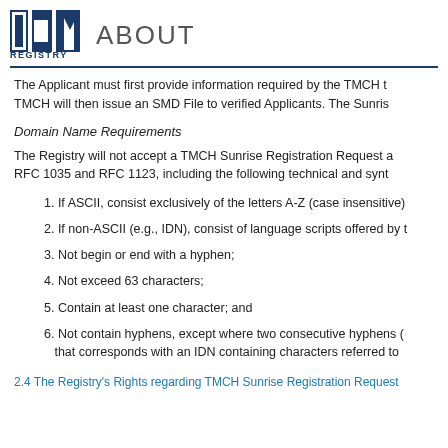ICM REGISTRY  ABOUT
The Applicant must first provide information required by the TMCH t TMCH will then issue an SMD File to verified Applicants. The Sunris
Domain Name Requirements
The Registry will not accept a TMCH Sunrise Registration Request a RFC 1035 and RFC 1123, including the following technical and synt
1. If ASCII, consist exclusively of the letters A-Z (case insensitive)
2. If non-ASCII (e.g., IDN), consist of language scripts offered by t
3. Not begin or end with a hyphen;
4. Not exceed 63 characters;
5. Contain at least one character; and
6. Not contain hyphens, except where two consecutive hyphens ( that corresponds with an IDN containing characters referred to
2.4 The Registry's Rights regarding TMCH Sunrise Registration Request